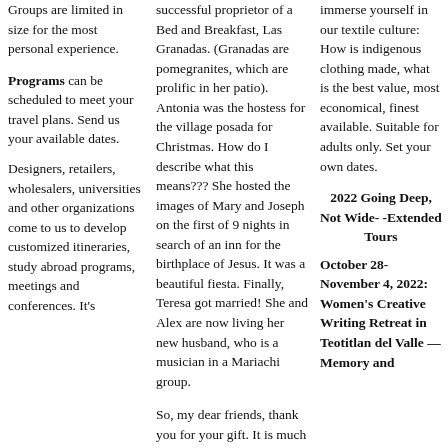Groups are limited in size for the most personal experience.
Programs can be scheduled to meet your travel plans. Send us your available dates.
Designers, retailers, wholesalers, universities and other organizations come to us to develop customized itineraries, study abroad programs, meetings and conferences. It's
successful proprietor of a Bed and Breakfast, Las Granadas. (Granadas are pomegranites, which are prolific in her patio). Antonia was the hostess for the village posada for Christmas. How do I describe what this means??? She hosted the images of Mary and Joseph on the first of 9 nights in search of an inn for the birthplace of Jesus. It was a beautiful fiesta. Finally, Teresa got married! She and Alex are now living her new husband, who is a musician in a Mariachi group.
So, my dear friends, thank you for your gift. It is much more than the gift of money, as you can probably tell by the warmth and joy in the photos I'll be sending along. They are sending back some amazing smiles.
immerse yourself in our textile culture: How is indigenous clothing made, what is the best value, most economical, finest available. Suitable for adults only. Set your own dates.
2022 Going Deep, Not Wide- -Extended Tours
October 28-November 4, 2022: Women's Creative Writing Retreat in Teotitlan del Valle — Memory and